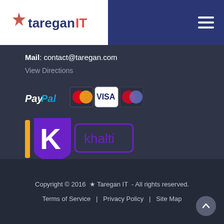[Figure (logo): Taregan IT logo with star icon, white background, with hamburger menu icon on dark blue nav bar]
Mail: contact@taregan.com
View Directions
[Figure (logo): PayPal and payment card logos: PayPal, MasterCard, VISA, Maestro, American Express]
[Figure (logo): Khalti digital wallet logo in purple]
Copyright © 2016  ★ Taregan IT  - All rights reserved.
Terms of Service  |  Privacy Policy  |  Site Map